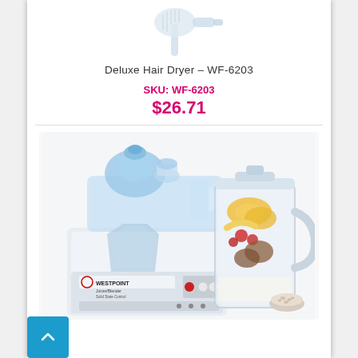[Figure (photo): Partial image of a hair dryer (Deluxe Hair Dryer WF-6203) shown from the top, white/silver product on white background]
Deluxe Hair Dryer – WF-6203
SKU: WF-6203
$26.71
[Figure (photo): Westpoint Juicer/Blender product photo showing a white appliance with blue transparent top, solid state control, and a glass blender jug filled with fruits (pineapple, berries, banana) alongside a small bowl of seeds. Brand: WESTPOINT, model: Juicer/Blender Solid State Control.]